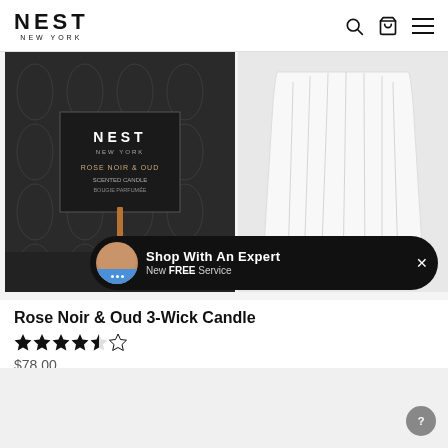NEST NEW YORK
[Figure (photo): Product photo of Rose Noir & Oud 3-Wick Candle showing dark patterned box on left and frosted ribbed glass candle vessel on right, with 'Shop With An Expert - New FREE Service' overlay banner at bottom right]
Rose Noir & Oud 3-Wick Candle
★★★★½ (4.5 stars)
$78.00
[Figure (photo): Bottom partial gray/light area, likely another product image loading]